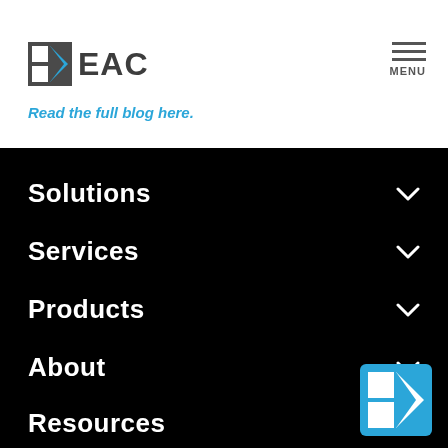[Figure (logo): EAC company logo with geometric K-shape icon in dark gray and blue, followed by text 'EAC' in dark gray]
[Figure (other): Hamburger menu icon with three horizontal lines and 'MENU' label below]
Read the full blog here.
Solutions
Services
Products
About
Resources
[Figure (logo): EAC logo badge — blue square with white geometric K-shape icon]